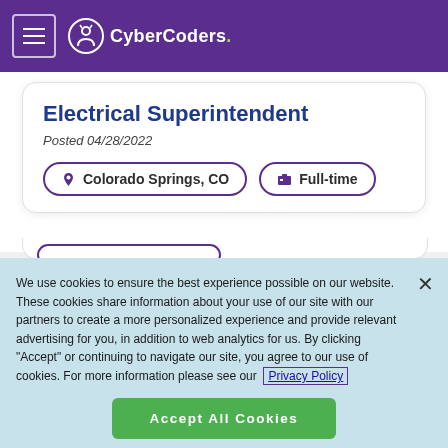CyberCoders.
Electrical Superintendent
Posted 04/28/2022
Colorado Springs, CO
Full-time
We use cookies to ensure the best experience possible on our website. These cookies share information about your use of our site with our partners to create a more personalized experience and provide relevant advertising for you, in addition to web analytics for us. By clicking "Accept" or continuing to navigate our site, you agree to our use of cookies. For more information please see our Privacy Policy
Accept All Cookies